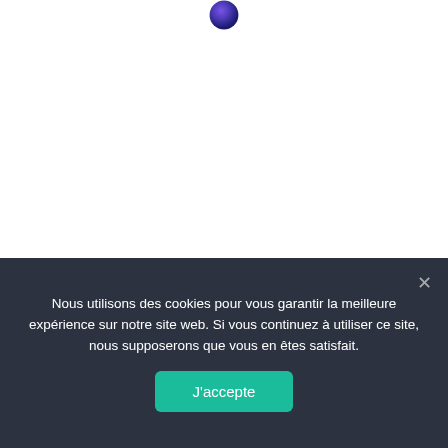[Figure (logo): Partial purple-blue gradient sphere logo at top center, partially cropped]
[Figure (illustration): White background area with a light gray rounded card containing a yellow/amber rectangle]
Nous utilisons des cookies pour vous garantir la meilleure expérience sur notre site web. Si vous continuez à utiliser ce site, nous supposerons que vous en êtes satisfait.
J'accepte